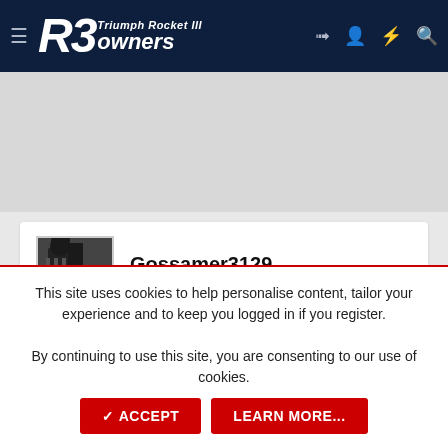[Figure (logo): R3 Owners - Triumph Rocket III Owners forum logo on dark navy header with hamburger menu and icons]
[Figure (photo): Forum advertisement placeholder banner, light grey]
Gossamer3129
.020 Over
Jun 4, 2007
#1
This site uses cookies to help personalise content, tailor your experience and to keep you logged in if you register.
By continuing to use this site, you are consenting to our use of cookies.
✓ ACCEPT
LEARN MORE...